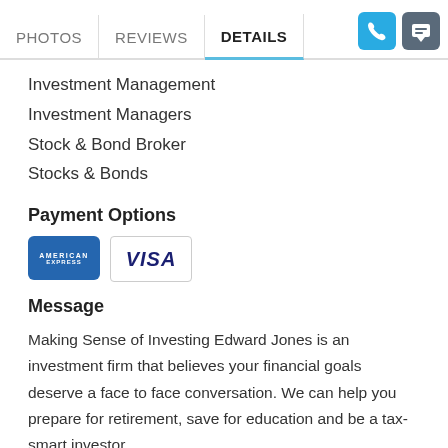PHOTOS | REVIEWS | DETAILS
Investment Management
Investment Managers
Stock & Bond Broker
Stocks & Bonds
Payment Options
[Figure (logo): American Express and Visa payment icons]
Message
Making Sense of Investing Edward Jones is an investment firm that believes your financial goals deserve a face to face conversation. We can help you prepare for retirement, save for education and be a tax-smart investor.
Other Link
http://www.edwardjones.com